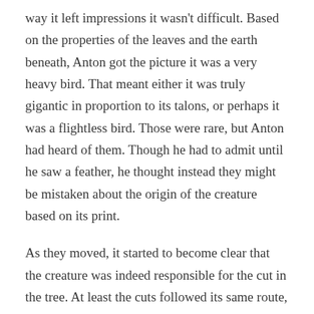way it left impressions it wasn't difficult. Based on the properties of the leaves and the earth beneath, Anton got the picture it was a very heavy bird. That meant either it was truly gigantic in proportion to its talons, or perhaps it was a flightless bird. Those were rare, but Anton had heard of them. Though he had to admit until he saw a feather, he thought instead they might be mistaken about the origin of the creature based on its print.
As they moved, it started to become clear that the creature was indeed responsible for the cut in the tree. At least the cuts followed its same route, occasional slices appearing in plants along the way. Then they found a feather.
It didn't look like much, except the way it was embedded in a rock. It appeared to have sliced cleanly into it as it passed, but it stopped halfway. It took a moment of twisting and